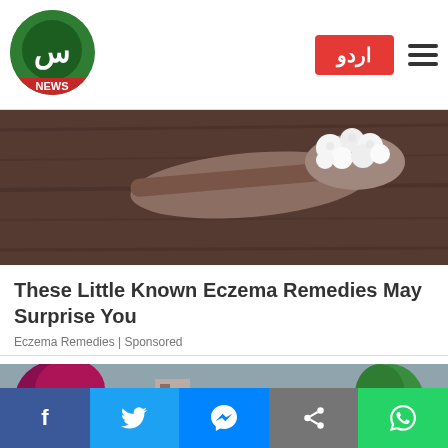Samaa News - اردو
[Figure (photo): Close-up photo of cauliflower florets on a wooden spoon against a dark rustic wooden background]
These Little Known Eczema Remedies May Surprise You
Eczema Remedies | Sponsored
[Figure (photo): Photo of a house roof with damaged/curling shingles, with a chimney and trees visible in the background]
Social share bar: Facebook, Twitter, Messenger, Share, WhatsApp